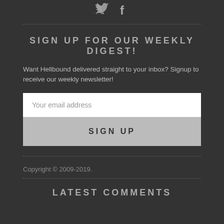[Figure (logo): Social media icons: Twitter and Facebook in gray on dark background]
SIGN UP FOR OUR WEEKLY DIGEST!
Want Hellbound delivered straight to your inbox? Signup to receive our weekly newsletter!
[Figure (screenshot): Email input field with placeholder 'Your email address' and SIGN UP button below]
Copyright © 2009-2019.
LATEST COMMENTS